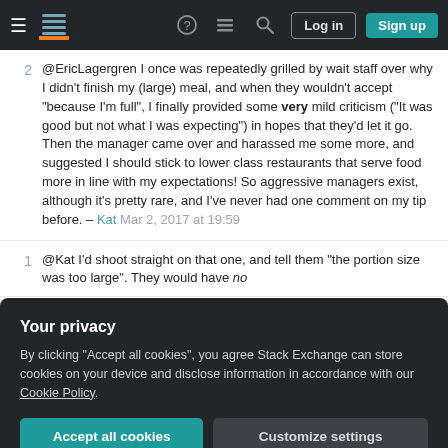Stack Exchange navigation bar with hamburger menu, logo, help, chat, search icons, Log in and Sign up buttons
@EricLagergren I once was repeatedly grilled by wait staff over why I didn't finish my (large) meal, and when they wouldn't accept "because I'm full", I finally provided some very mild criticism ("It was good but not what I was expecting") in hopes that they'd let it go. Then the manager came over and harassed me some more, and suggested I should stick to lower class restaurants that serve food more in line with my expectations! So aggressive managers exist, although it's pretty rare, and I've never had one comment on my tip before. – Kat Mar 2, 2017 at 19:59
@Kat I'd shoot straight on that one, and tell them "the portion size was too large". They would have no
Your privacy
By clicking "Accept all cookies", you agree Stack Exchange can store cookies on your device and disclose information in accordance with our Cookie Policy.
Accept all cookies   Customize settings
If you're paying with cash instead of a credit card,